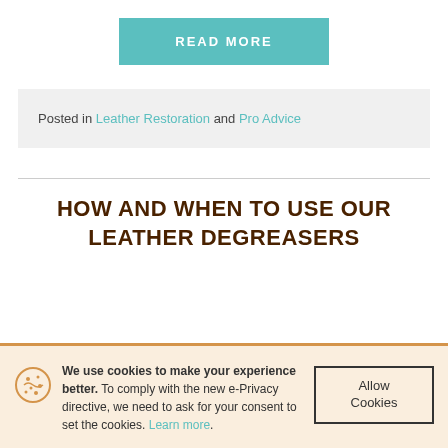READ MORE
Posted in Leather Restoration and Pro Advice
HOW AND WHEN TO USE OUR LEATHER DEGREASERS
We use cookies to make your experience better. To comply with the new e-Privacy directive, we need to ask for your consent to set the cookies. Learn more.
Allow Cookies